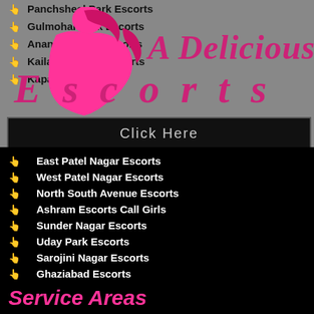[Figure (logo): Pink illustrated female figure silhouette with 'A Delicious Escorts' text overlay in pink italic bold font]
Panchsheel Park Escorts
Gulmohar Park Escorts
Anand Niketan Escorts
Kailash Colony Escorts
Kapashera Escorts
Click Here
East Patel Nagar Escorts
West Patel Nagar Escorts
North South Avenue Escorts
Ashram Escorts Call Girls
Sunder Nagar Escorts
Uday Park Escorts
Sarojini Nagar Escorts
Ghaziabad Escorts
Faridabad Escorts
Service Areas